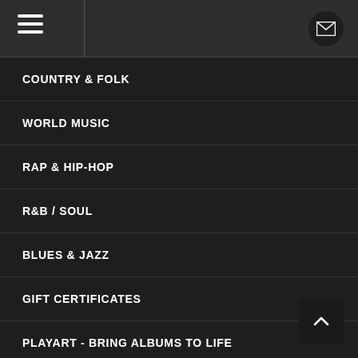Navigation header with hamburger menu and mail icon
COUNTRY & FOLK
WORLD MUSIC
RAP & HIP-HOP
R&B / SOUL
BLUES & JAZZ
GIFT CERTIFICATES
PLAYART - BRING ALBUMS TO LIFE
DONATE NOW
RECORD STORE DAY DROPS 2020 - AUG 29